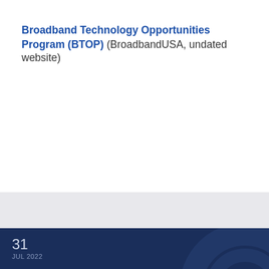Broadband Technology Opportunities Program (BTOP) (BroadbandUSA, undated website)
31 JUL 2022